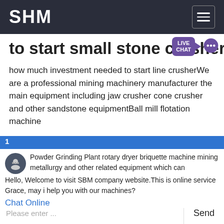SHM
to start small stone crusher
how much investment needed to start line crusherWe are a professional mining machinery manufacturer the main equipment including jaw crusher cone crusher and other sandstone equipmentBall mill flotation machine Powder Grinding Plant rotary dryer briquette machine mining metallurgy and other related equipment which can
Hello, Welcome to visit SBM company website.This is online service Grace, may i help you with our machines?
Chat Online
[Figure (photo): Blue industrial stone crushing/briquette machine in a warehouse]
Please enter ...
Send